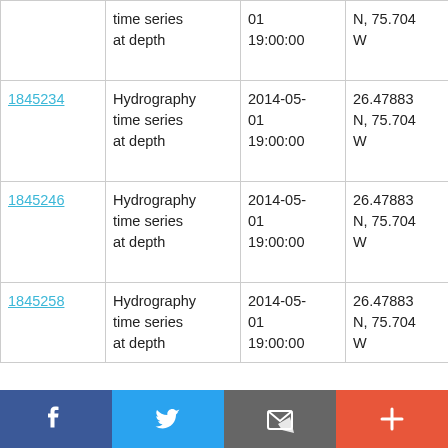|  | time series at depth | 01
19:00:00 | N, 75.704 W | James Cook JC103 |
| 1845234 | Hydrography time series at depth | 2014-05-01
19:00:00 | 26.47883 N, 75.704 W | RRS James Cook JC103 |
| 1845246 | Hydrography time series at depth | 2014-05-01
19:00:00 | 26.47883 N, 75.704 W | RRS James Cook JC103 |
| 1845258 | Hydrography time series at depth | 2014-05-01
19:00:00 | 26.47883 N, 75.704 W | RRS James Cook |
[Figure (screenshot): Social media sharing bar with Facebook, Twitter, email/share, and add (+) buttons]